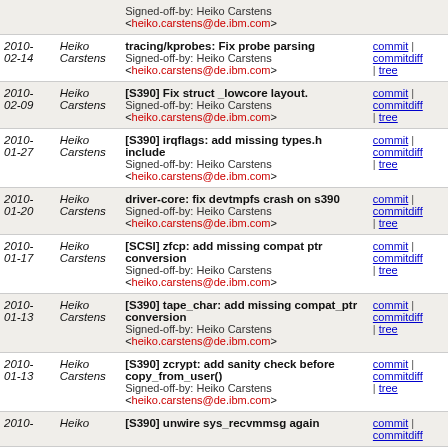| Date | Author | Message | Links |
| --- | --- | --- | --- |
|  |  | Signed-off-by: Heiko Carstens <heiko.carstens@de.ibm.com> |  |
| 2010-02-14 | Heiko Carstens | tracing/kprobes: Fix probe parsing
Signed-off-by: Heiko Carstens <heiko.carstens@de.ibm.com> | commit | commitdiff | tree |
| 2010-02-09 | Heiko Carstens | [S390] Fix struct _lowcore layout.
Signed-off-by: Heiko Carstens <heiko.carstens@de.ibm.com> | commit | commitdiff | tree |
| 2010-01-27 | Heiko Carstens | [S390] irqflags: add missing types.h include
Signed-off-by: Heiko Carstens <heiko.carstens@de.ibm.com> | commit | commitdiff | tree |
| 2010-01-20 | Heiko Carstens | driver-core: fix devtmpfs crash on s390
Signed-off-by: Heiko Carstens <heiko.carstens@de.ibm.com> | commit | commitdiff | tree |
| 2010-01-17 | Heiko Carstens | [SCSI] zfcp: add missing compat ptr conversion
Signed-off-by: Heiko Carstens <heiko.carstens@de.ibm.com> | commit | commitdiff | tree |
| 2010-01-13 | Heiko Carstens | [S390] tape_char: add missing compat_ptr conversion
Signed-off-by: Heiko Carstens <heiko.carstens@de.ibm.com> | commit | commitdiff | tree |
| 2010-01-13 | Heiko Carstens | [S390] zcrypt: add sanity check before copy_from_user()
Signed-off-by: Heiko Carstens <heiko.carstens@de.ibm.com> | commit | commitdiff | tree |
| 2010- | Heiko | [S390] unwire sys_recvmmsg again | commit | commitdiff |